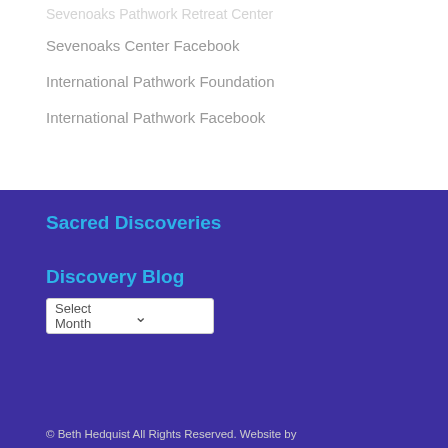Sevenoaks Pathwork Retreat Center
Sevenoaks Center Facebook
International Pathwork Foundation
International Pathwork Facebook
Sacred Discoveries
Discovery Blog
Select Month
© Beth Hedquist All Rights Reserved. Website by